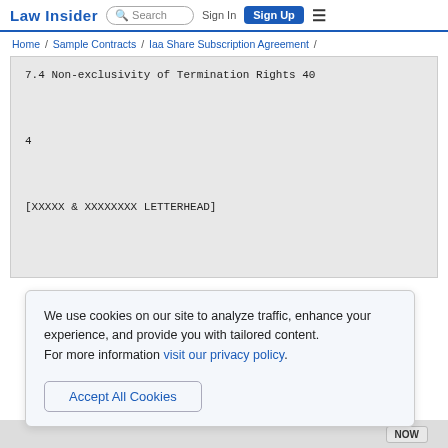Law Insider | Search | Sign In | Sign Up
Home / Sample Contracts / Iaa Share Subscription Agreement /
7.4 Non-exclusivity of Termination Rights 40

4

[XXXXX & XXXXXXXX LETTERHEAD]
We use cookies on our site to analyze traffic, enhance your experience, and provide you with tailored content.
For more information visit our privacy policy.
Accept All Cookies